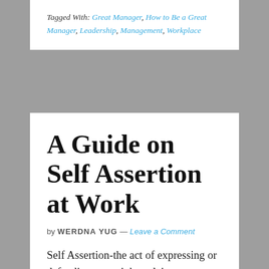Tagged With: Great Manager, How to Be a Great Manager, Leadership, Management, Workplace
A Guide on Self Assertion at Work
by WERDNA YUG — Leave a Comment
Self Assertion-the act of expressing or defending your rights, claims, or opinions in a confident or forceful way. Merriam-Webster has defined pretty much anything under the sun, including the sun. Self-assertion represents a recent entry into the venerable dictionary's ever growing list of words and